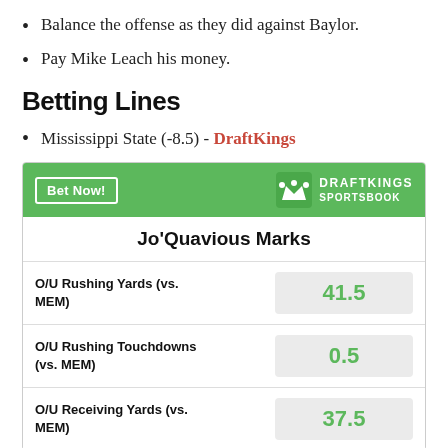Balance the offense as they did against Baylor.
Pay Mike Leach his money.
Betting Lines
Mississippi State (-8.5) - DraftKings
[Figure (other): DraftKings Sportsbook betting widget for Jo'Quavious Marks showing O/U Rushing Yards (vs. MEM) 41.5, O/U Rushing Touchdowns (vs. MEM) 0.5, O/U Receiving Yards (vs. MEM) 37.5]